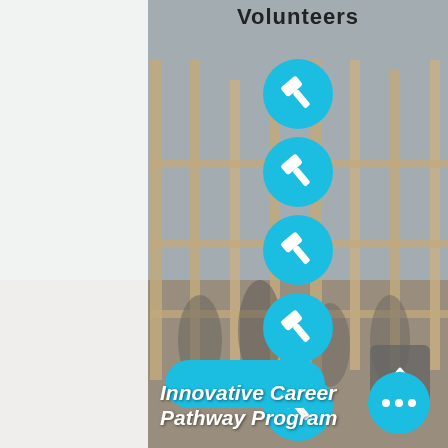Volunteers
[Figure (infographic): Six blue circular icons each containing a white hammer tool icon, arranged vertically in a column over a background photo of volunteers building a wooden frame structure]
[Figure (photo): Background photo of a group of volunteers/students working together to construct a wooden frame wall structure outdoors]
[Figure (other): Cyan/blue rounded rectangle button with no visible text]
[Figure (other): Gray square back-to-top button with upward chevron arrow]
Innovative Career Pathway Program
[Figure (other): Blue circular button with three white dots (more options)]